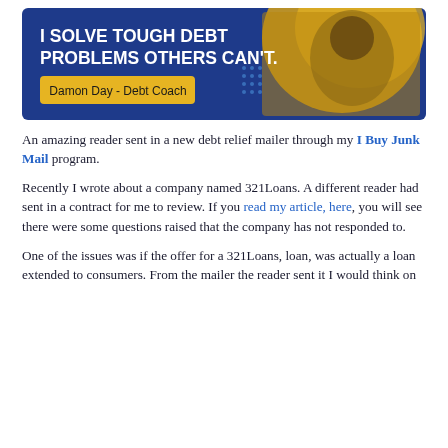[Figure (illustration): Banner ad for Damon Day - Debt Coach. Blue background with gold circular graphic and photo of a man. Text reads: 'I SOLVE TOUGH DEBT PROBLEMS OTHERS CAN'T.' with a tag 'Damon Day - Debt Coach'.]
An amazing reader sent in a new debt relief mailer through my I Buy Junk Mail program.
Recently I wrote about a company named 321Loans. A different reader had sent in a contract for me to review. If you read my article, here, you will see there were some questions raised that the company has not responded to.
One of the issues was if the offer for a 321Loans, loan, was actually a loan extended to consumers. From the mailer the reader sent it I would think on